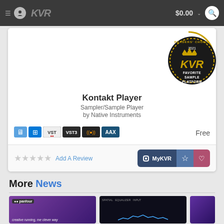KVR $0.00
[Figure (screenshot): Kontakt Player product page on KVR Audio. Shows product card with Readers Choice 2021 Favorite Sample Platform badge, product name Kontakt Player, category Sampler/Sample Player by Native Instruments, platform icons (Mac, Windows, VST, VST3, standalone, AAX), price Free, star rating and Add A Review link, and MyKVR action buttons.]
Kontakt Player
Sampler/Sample Player
by Native Instruments
Free
Add A Review
More News